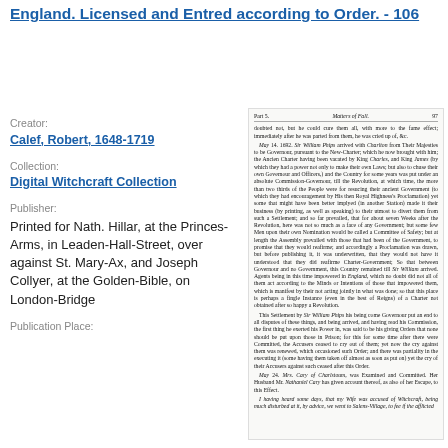England. Licensed and Entred according to Order. - 106
Creator:
Calef, Robert, 1648-1719
Collection:
Digital Witchcraft Collection
Publisher:
Printed for Nath. Hillar, at the Princes-Arms, in Leaden-Hall-Street, over against St. Mary-Ax, and Joseph Collyer, at the Golden-Bible, on London-Bridge
Publication Place:
[Figure (photo): Scanned page from a historical book showing Part 5, Matters of Fall, page 97. Contains dense italic text in an old English typeset describing events including the arrival of Sir William Phips as Governor and matters related to the Salem witchcraft trials, including the account of Mrs. Cary of Charlestown.]